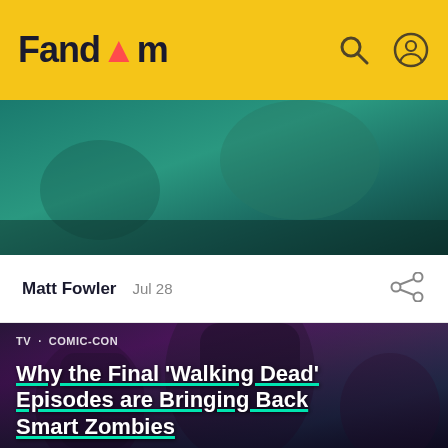Fandom
[Figure (screenshot): Teal/green hero image banner at top of article]
Matt Fowler   Jul 28
[Figure (photo): Walking Dead characters including Daryl Dixon with crossbow against moody sky background, with text overlay: TV · COMIC-CON and article title 'Why the Final 'Walking Dead' Episodes are Bringing Back Smart Zombies']
Why the Final 'Walking Dead' Episodes are Bringing Back Smart Zombies